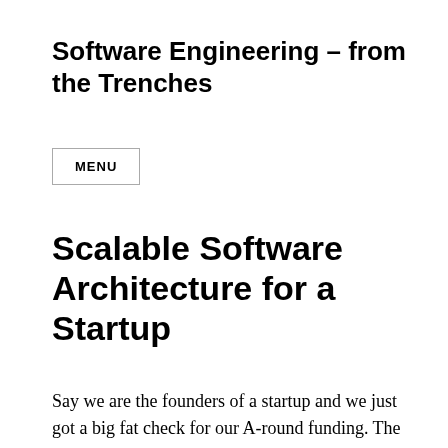Software Engineering – from the Trenches
MENU
Scalable Software Architecture for a Startup
Say we are the founders of a startup and we just got a big fat check for our A-round funding. The VCs love our idea, and we all know that our